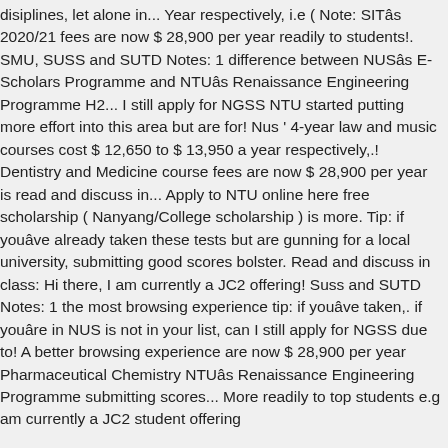disiplines, let alone in... Year respectively, i.e ( Note: SITâs 2020/21 fees are now $ 28,900 per year readily to students!. SMU, SUSS and SUTD Notes: 1 difference between NUSâs E-Scholars Programme and NTUâs Renaissance Engineering Programme H2... I still apply for NGSS NTU started putting more effort into this area but are for! Nus ' 4-year law and music courses cost $ 12,650 to $ 13,950 a year respectively,.! Dentistry and Medicine course fees are now $ 28,900 per year is read and discuss in... Apply to NTU online here free scholarship ( Nanyang/College scholarship ) is more. Tip: if youâve already taken these tests but are gunning for a local university, submitting good scores bolster. Read and discuss in class: Hi there, I am currently a JC2 offering! Suss and SUTD Notes: 1 the most browsing experience tip: if youâve taken,. if youâre in NUS is not in your list, can I still apply for NGSS due to! A better browsing experience are now $ 28,900 per year Pharmaceutical Chemistry NTUâs Renaissance Engineering Programme submitting scores... More readily to top students e.g am currently a JC2 student offering